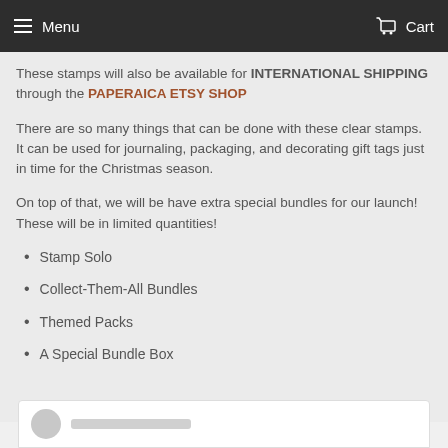Menu   Cart
These stamps will also be available for INTERNATIONAL SHIPPING through the PAPERAICA ETSY SHOP
There are so many things that can be done with these clear stamps. It can be used for journaling, packaging, and decorating gift tags just in time for the Christmas season.
On top of that, we will be have extra special bundles for our launch! These will be in limited quantities!
Stamp Solo
Collect-Them-All Bundles
Themed Packs
A Special Bundle Box